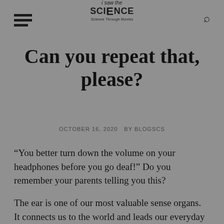i saw the SCIENCE
Can you repeat that, please?
OCTOBER 16, 2020  BY BLOGSCS
“You better turn down the volume on your headphones before you go deaf!” Do you remember your parents telling you this?
The ear is one of our most valuable sense organs. It connects us to the world and leads our everyday lives without limitations. Although